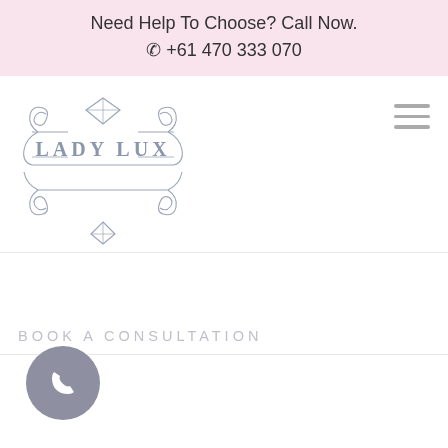Need Help To Choose? Call Now.
☎ +61 470 333 070
[Figure (logo): Lady Lux logo with diamond and decorative scrollwork, text reads LADY LUX]
BOOK A CONSULTATION
[Figure (other): Grey circular phone/call button at bottom left]